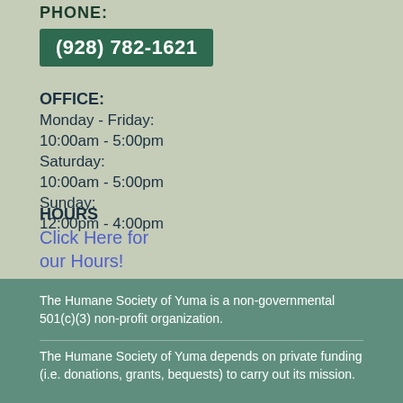PHONE:
(928) 782-1621
OFFICE:
Monday - Friday:
10:00am - 5:00pm
Saturday:
10:00am - 5:00pm
Sunday:
12:00pm - 4:00pm
HOURS
Click Here for our Hours!
The Humane Society of Yuma is a non-governmental 501(c)(3) non-profit organization.
The Humane Society of Yuma depends on private funding (i.e. donations, grants, bequests) to carry out its mission.